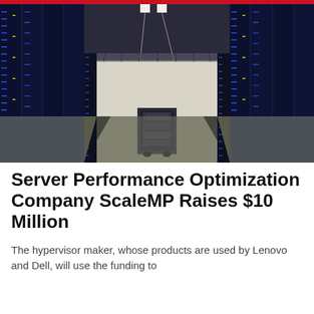[Figure (photo): Interior of a data center showing two rows of tall black server racks with blue lighting extending down a corridor, with a cart visible in the middle aisle and overhead cable trays and ceiling lights.]
Server Performance Optimization Company ScaleMP Raises $10 Million
The hypervisor maker, whose products are used by Lenovo and Dell, will use the funding to